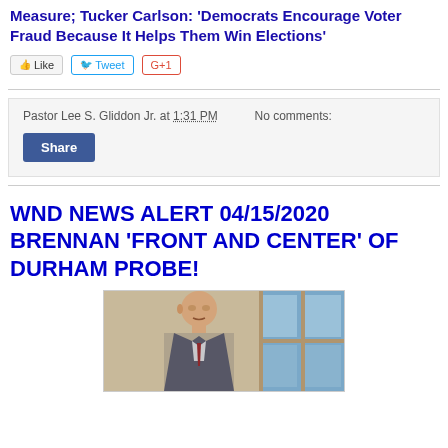Measure; Tucker Carlson: 'Democrats Encourage Voter Fraud Because It Helps Them Win Elections'
[Figure (other): Social media sharing buttons: Like, Tweet, G+1]
Pastor Lee S. Gliddon Jr. at 1:31 PM   No comments:
Share
WND NEWS ALERT 04/15/2020 BRENNAN 'FRONT AND CENTER' OF DURHAM PROBE!
[Figure (photo): Photo of a man (John Brennan) in a suit, standing indoors near a window with blue curtains]